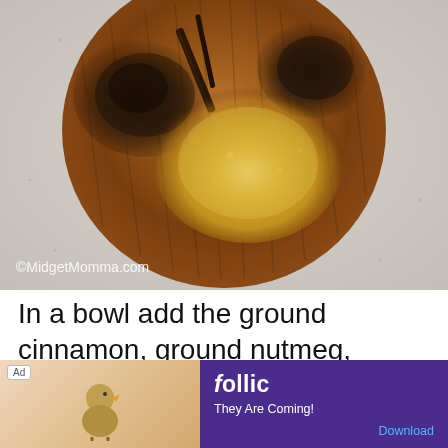[Figure (photo): Overhead view of spices on a wooden cutting board against a marble/stone surface. Various ground spices including dark brown spices (cinnamon, nutmeg, cloves) and lighter yellow ground ginger are arranged on an oval wooden board. A cinnamon stick is also visible. Watermark reads ©MidgetMomma.com.]
In a bowl add the ground cinnamon, ground nutmeg, ground ginger, ground cloves, and ground allspice.
[Figure (screenshot): Advertisement banner at the bottom of the page. Shows 'Ad' label, a game advertisement for 'follic' with tagline 'They Are Coming!' and a Download link.]